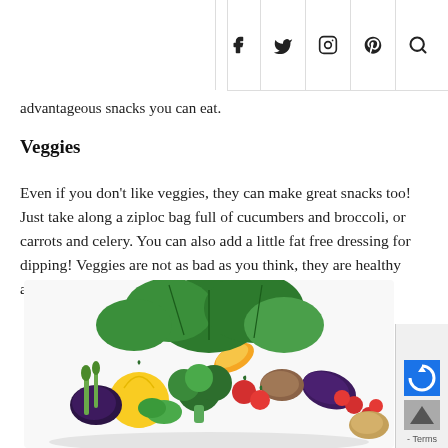Social icons: f  y  (instagram)  (pinterest)  (search)
advantageous snacks you can eat.
Veggies
Even if you don't like veggies, they can make great snacks too! Just take along a ziploc bag full of cucumbers and broccoli, or carrots and celery. You can also add a little fat free dressing for dipping! Veggies are not as bad as you think, they are healthy and incredibly tasty!
[Figure (photo): A colorful assortment of fresh vegetables including green leafy vegetables, tomatoes, broccoli, yellow bell pepper, eggplant, corn, and other produce arranged in a pile on a white background.]